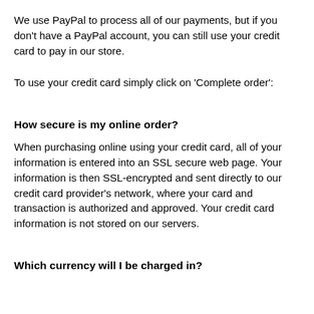We use PayPal to process all of our payments, but if you don't have a PayPal account, you can still use your credit card to pay in our store.
To use your credit card simply click on 'Complete order':
How secure is my online order?
When purchasing online using your credit card, all of your information is entered into an SSL secure web page. Your information is then SSL-encrypted and sent directly to our credit card provider's network, where your card and transaction is authorized and approved. Your credit card information is not stored on our servers.
Which currency will I be charged in?